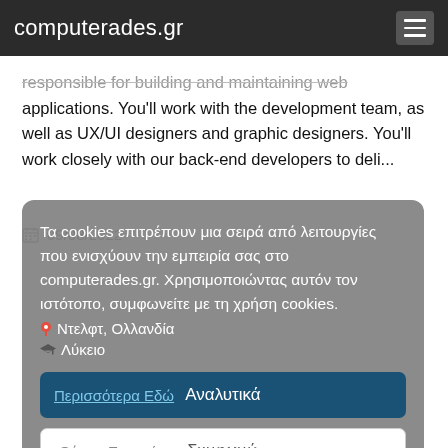computerades.gr
responsible for building and maintaining web applications. You'll work with the development team, as well as UX/UI designers and graphic designers. You'll work closely with our back-end developers to deli...
09/08/2022
Τα cookies επιτρέπουν μια σειρά από λειτουργίες που ενισχύουν την εμπειρία σας στο computerades.gr. Χρησιμοποιώντας αυτόν τον ιστότοπο, συμφωνείτε με τη χρήση cookies.
Ντελφτ, Ολλανδία
Λύκειο
Περισσότερα Εδώ   Αναλυτικά
Θέσεις Εργασίας Insocial   Συμφωνώ